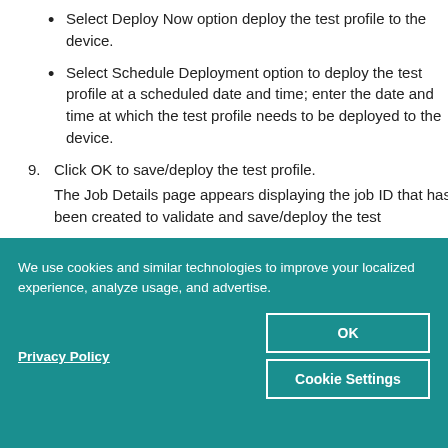Select Deploy Now option deploy the test profile to the device.
Select Schedule Deployment option to deploy the test profile at a scheduled date and time; enter the date and time at which the test profile needs to be deployed to the device.
9. Click OK to save/deploy the test profile.
The Job Details page appears displaying the job ID that has been created to validate and save/deploy the test
We use cookies and similar technologies to improve your localized experience, analyze usage, and advertise.
Privacy Policy
OK
Cookie Settings